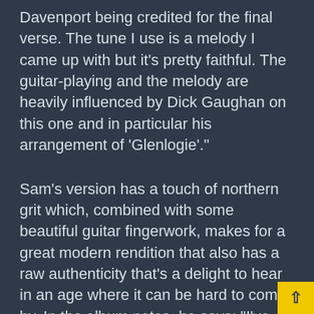Davenport being credited for the final verse. The tune I use is a melody I came up with but it's pretty faithful. The guitar-playing and the melody are heavily influenced by Dick Gaughan on this one and in particular his arrangement of 'Glenlogie'."
Sam's version has a touch of northern grit which, combined with some beautiful guitar fingerwork, makes for a great modern rendition that also has a raw authenticity that's a delight to hear in an age where it can be hard to come by. In the album notes, he says: "I've had some of the most incredible experiences listening to people sing in folk clubs and I was lucky enough to have been brought up in the magical world that is the Yorkshire folk club scene. I hope in some way this record brings to life the wonder I have felt listening to people sing traditi